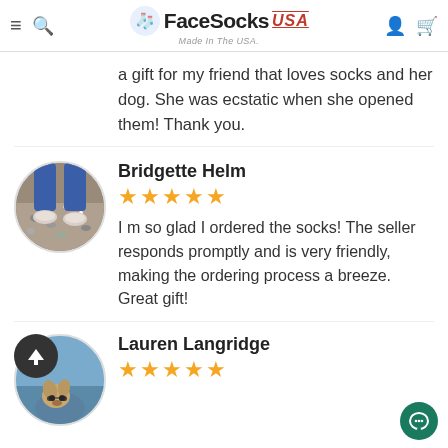FaceSocks USA — Made In The USA.
a gift for my friend that loves socks and her dog. She was ecstatic when she opened them! Thank you.
Bridgette Helm
★★★★★
I m so glad I ordered the socks! The seller responds promptly and is very friendly, making the ordering process a breeze. Great gift!
Lauren Langridge
★★★★★